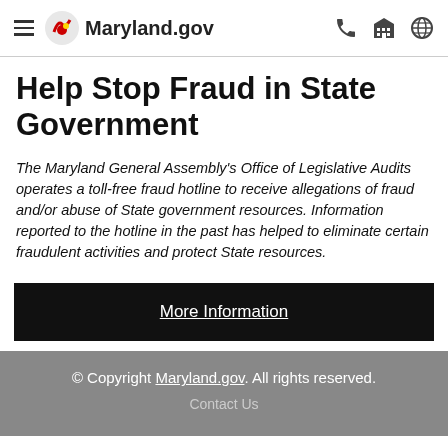Maryland.gov
Help Stop Fraud in State Government
The Maryland General Assembly's Office of Legislative Audits operates a toll-free fraud hotline to receive allegations of fraud and/or abuse of State government resources. Information reported to the hotline in the past has helped to eliminate certain fraudulent activities and protect State resources.
More Information
© Copyright Maryland.gov. All rights reserved.